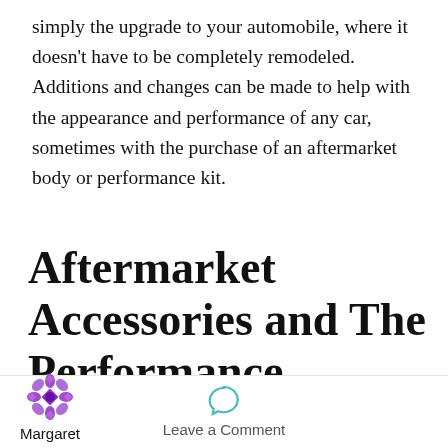simply the upgrade to your automobile, where it doesn't have to be completely remodeled. Additions and changes can be made to help with the appearance and performance of any car, sometimes with the purchase of an aftermarket body or performance kit.
Aftermarket Accessories and The Performance Industry
Last year the American auto aftermarket industry
Margaret   Leave a Comment